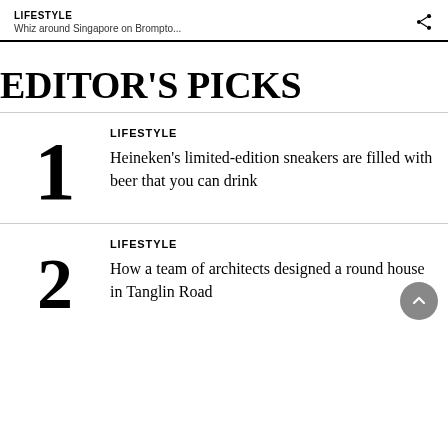LIFESTYLE
Whiz around Singapore on Brompto...
EDITOR'S PICKS
LIFESTYLE
Heineken's limited-edition sneakers are filled with beer that you can drink
LIFESTYLE
How a team of architects designed a round house in Tanglin Road